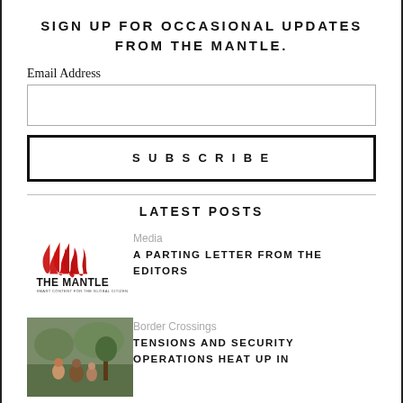SIGN UP FOR OCCASIONAL UPDATES FROM THE MANTLE.
Email Address
SUBSCRIBE
LATEST POSTS
Media
A PARTING LETTER FROM THE EDITORS
[Figure (logo): The Mantle logo — red flame/wave icon above text 'THE MANTLE' and tagline 'SMART CONTENT FOR THE GLOBAL CITIZEN']
Border Crossings
TENSIONS AND SECURITY OPERATIONS HEAT UP IN
[Figure (photo): Outdoor scene with group of people, appears to be in a natural or rural setting]